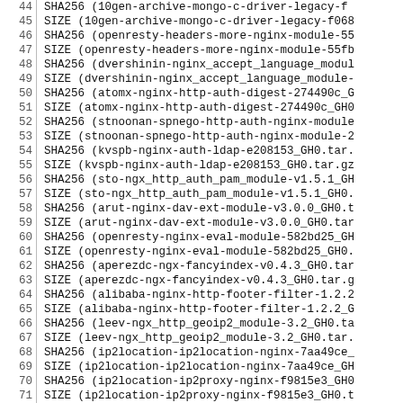| line | code |
| --- | --- |
| 44 | SHA256 (10gen-archive-mongo-c-driver-legacy-f… |
| 45 | SIZE (10gen-archive-mongo-c-driver-legacy-f068… |
| 46 | SHA256 (openresty-headers-more-nginx-module-55… |
| 47 | SIZE (openresty-headers-more-nginx-module-55fb… |
| 48 | SHA256 (dvershinin-nginx_accept_language_modul… |
| 49 | SIZE (dvershinin-nginx_accept_language_module-… |
| 50 | SHA256 (atomx-nginx-http-auth-digest-274490c_G… |
| 51 | SIZE (atomx-nginx-http-auth-digest-274490c_GH0… |
| 52 | SHA256 (stnoonan-spnego-http-auth-nginx-module… |
| 53 | SIZE (stnoonan-spnego-http-auth-nginx-module-2… |
| 54 | SHA256 (kvspb-nginx-auth-ldap-e208153_GH0.tar.… |
| 55 | SIZE (kvspb-nginx-auth-ldap-e208153_GH0.tar.gz… |
| 56 | SHA256 (sto-ngx_http_auth_pam_module-v1.5.1_GH… |
| 57 | SIZE (sto-ngx_http_auth_pam_module-v1.5.1_GH0.… |
| 58 | SHA256 (arut-nginx-dav-ext-module-v3.0.0_GH0.t… |
| 59 | SIZE (arut-nginx-dav-ext-module-v3.0.0_GH0.tar… |
| 60 | SHA256 (openresty-nginx-eval-module-582bd25_GH… |
| 61 | SIZE (openresty-nginx-eval-module-582bd25_GH0.… |
| 62 | SHA256 (aperezdc-ngx-fancyindex-v0.4.3_GH0.tar… |
| 63 | SIZE (aperezdc-ngx-fancyindex-v0.4.3_GH0.tar.g… |
| 64 | SHA256 (alibaba-nginx-http-footer-filter-1.2.2… |
| 65 | SIZE (alibaba-nginx-http-footer-filter-1.2.2_G… |
| 66 | SHA256 (leev-ngx_http_geoip2_module-3.2_GH0.ta… |
| 67 | SIZE (leev-ngx_http_geoip2_module-3.2_GH0.tar.… |
| 68 | SHA256 (ip2location-ip2location-nginx-7aa49ce_… |
| 69 | SIZE (ip2location-ip2location-nginx-7aa49ce_GH… |
| 70 | SHA256 (ip2location-ip2proxy-nginx-f9815e3_GH0… |
| 71 | SIZE (ip2location-ip2proxy-nginx-f9815e3_GH0.t… |
| 72 | SHA256 (nginx-modules-ngx_http_json_status_mod… |
| 73 | SIZE (nginx-modules-ngx_http_json_status_modul… |
| 74 | SHA256 (kr_nginx_notice_2e05066_GH0.tar.gz) =… |